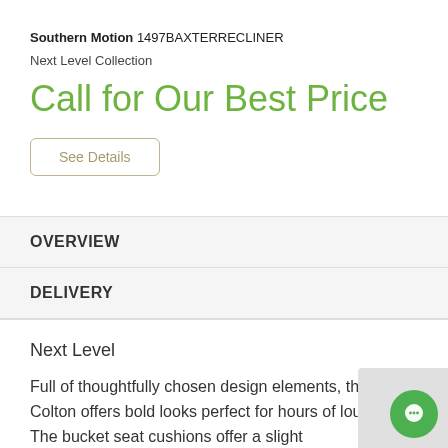Southern Motion 1497BAXTERRECLINER
Next Level Collection
Call for Our Best Price
See Details
OVERVIEW
DELIVERY
Next Level
Full of thoughtfully chosen design elements, the Colton offers bold looks perfect for hours of lounging. The bucket seat cushions offer a slight